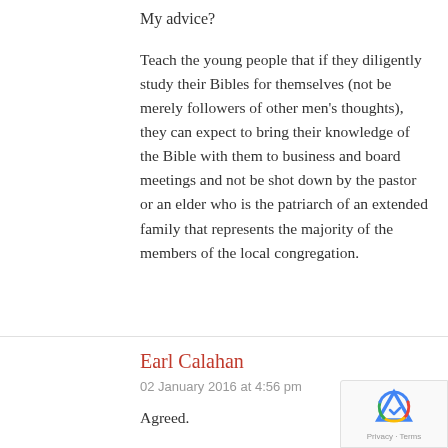My advice?
Teach the young people that if they diligently study their Bibles for themselves (not be merely followers of other men's thoughts), they can expect to bring their knowledge of the Bible with them to business and board meetings and not be shot down by the pastor or an elder who is the patriarch of an extended family that represents the majority of the members of the local congregation.
Earl Calahan
02 January 2016 at 4:56 pm
Agreed.